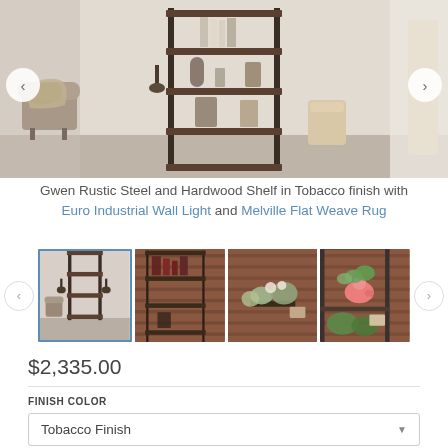[Figure (photo): Hero image showing a rustic room with a steel and hardwood shelf unit, armchair with throw blanket, and basket on hardwood floors]
Gwen Rustic Steel and Hardwood Shelf in Tobacco finish with Euro Industrial Wall Light and Melville Flat Weave Rug
[Figure (photo): Thumbnail gallery showing four product photos: wide room view with shelving unit selected, brick wall bar setting, close-up of shelf with flowers, close-up of shelf with pink piggy bank plant]
$2,335.00
FINISH COLOR
Tobacco Finish